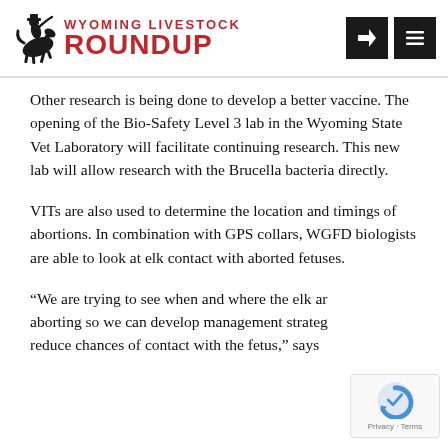Wyoming Livestock Roundup
Other research is being done to develop a better vaccine. The opening of the Bio-Safety Level 3 lab in the Wyoming State Vet Laboratory will facilitate continuing research. This new lab will allow research with the Brucella bacteria directly.
VITs are also used to determine the location and timings of abortions. In combination with GPS collars, WGFD biologists are able to look at elk contact with aborted fetuses.
“We are trying to see when and where the elk are aborting so we can develop management strategies to reduce chances of contact with the fetus,” says
[Figure (logo): reCAPTCHA badge with Privacy - Terms text]